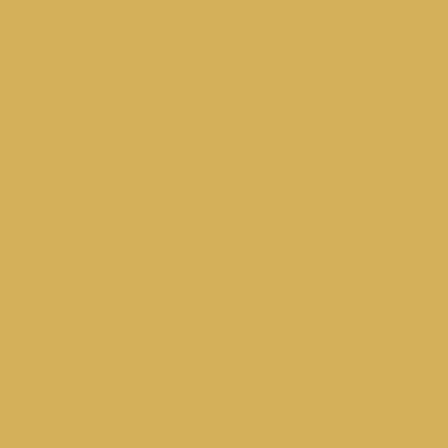16687 16688 16689 16690 16691 16692 16700 16701 16702 16703 16704 16705 16713 16714 16715 16716 16717 16718 16726 16727 16728 16729 16730 16731 16739 16740 16741 16742 16743 16744 16752 16753 16754 16755 16756 16757 16765 16766 16767 16768 16769 16770 16778 16779 16780 16781 16782 16783 16791 16792 16793 16794 16795 16796 16804 16805 16806 16807 16808 16809 16817 16818 16819 16820 16821 16822 16830 16831 16832 16833 16834 16835 16843 16844 16845 16846 16847 16848 16856 16857 16858 16859 16860 16861 16869 16870 16871 16872 16873 16874 16882 16883 16884 16885 16886 16887 16895 16896 16897 16898 16899 16900 16908 16909 16910 16911 16912 16913 16921 16922 16923 16924 16925 16926 16934 16935 16936 16937 16938 16939 16947 16948 16949 16950 16951 16952 16960 16961 16962 16963 16964 16965